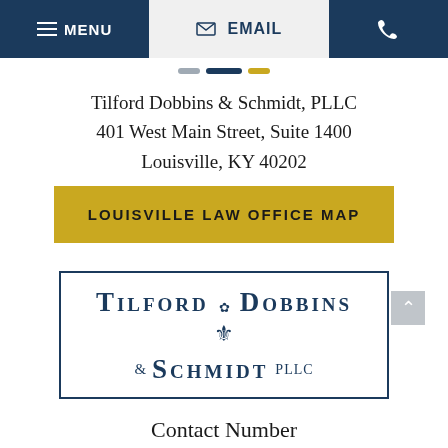MENU | EMAIL | (phone icon)
[Figure (other): Progress indicator dots: gray, navy, gold]
Tilford Dobbins & Schmidt, PLLC
401 West Main Street, Suite 1400
Louisville, KY 40202
LOUISVILLE LAW OFFICE MAP
[Figure (logo): Tilford Dobbins & Schmidt PLLC logo in navy blue with fleur-de-lis, inside rectangular border]
Contact Number